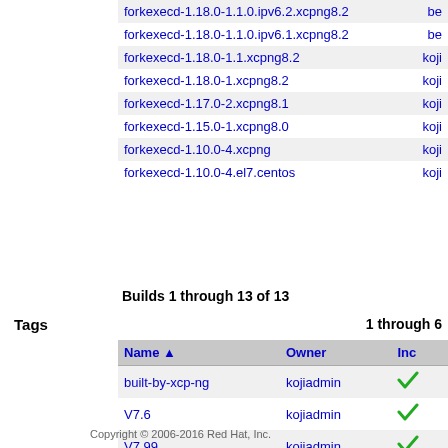| Name | Owner |
| --- | --- |
| forkexecd-1.18.0-1.1.0.ipv6.2.xcpng8.2 | be… |
| forkexecd-1.18.0-1.1.0.ipv6.1.xcpng8.2 | be… |
| forkexecd-1.18.0-1.1.xcpng8.2 | koji… |
| forkexecd-1.18.0-1.xcpng8.2 | koji… |
| forkexecd-1.17.0-2.xcpng8.1 | koji… |
| forkexecd-1.15.0-1.xcpng8.0 | koji… |
| forkexecd-1.10.0-4.xcpng | koji… |
| forkexecd-1.10.0-4.el7.centos | koji… |
Builds 1 through 13 of 13
Tags
1 through 6
| Name ▲ | Owner | Inc |
| --- | --- | --- |
| built-by-xcp-ng | kojiadmin | ✓ |
| V7.6 | kojiadmin | ✓ |
| V7.99 | kojiadmin | ✓ |
| V8.0 | kojiadmin | ✓ |
| V8.1 | kojiadmin | ✓ |
| V8.2 | kojiadmin | ✓ |
Tags 1 through 6 of 6
Copyright © 2006-2016 Red Hat, Inc.